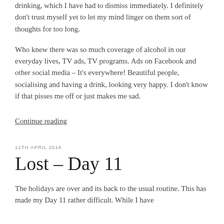drinking, which I have had to dismiss immediately. I definitely don't trust myself yet to let my mind linger on them sort of thoughts for too long.
Who knew there was so much coverage of alcohol in our everyday lives, TV ads, TV programs. Ads on Facebook and other social media – It's everywhere! Beautiful people, socialising and having a drink, looking very happy. I don't know if that pisses me off or just makes me sad.
Continue reading
11TH APRIL 2016
Lost – Day 11
The holidays are over and its back to the usual routine. This has made my Day 11 rather difficult. While I have